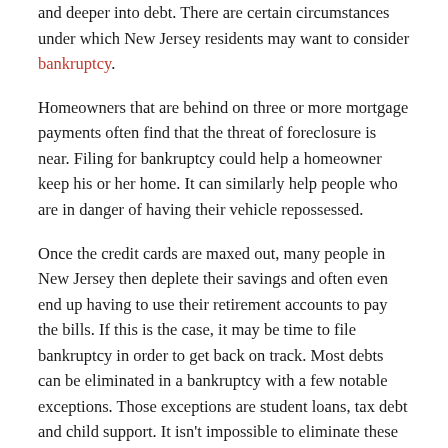and deeper into debt. There are certain circumstances under which New Jersey residents may want to consider bankruptcy.
Homeowners that are behind on three or more mortgage payments often find that the threat of foreclosure is near. Filing for bankruptcy could help a homeowner keep his or her home. It can similarly help people who are in danger of having their vehicle repossessed.
Once the credit cards are maxed out, many people in New Jersey then deplete their savings and often even end up having to use their retirement accounts to pay the bills. If this is the case, it may be time to file bankruptcy in order to get back on track. Most debts can be eliminated in a bankruptcy with a few notable exceptions. Those exceptions are student loans, tax debt and child support. It isn't impossible to eliminate these three types of debt,